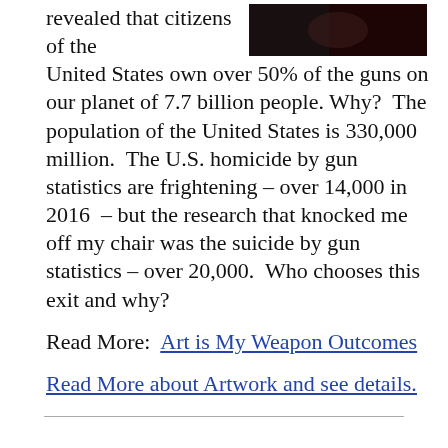revealed that citizens of the United States own over 50% of the guns on our planet of 7.7 billion people. Why?  The population of the United States is 330,000 million.  The U.S. homicide by gun statistics are frightening – over 14,000 in 2016  – but the research that knocked me off my chair was the suicide by gun statistics – over 20,000.  Who chooses this exit and why?
[Figure (photo): Dark photograph, partially visible at top right of page]
Read More:  Art is My Weapon Outcomes
Read More about Artwork and see details.